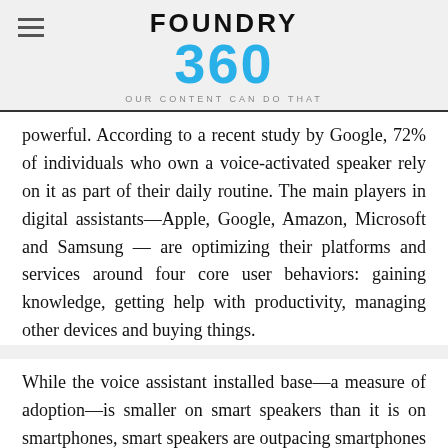FOUNDRY 360 — OUR CONTENT CAN DO THAT
powerful. According to a recent study by Google, 72% of individuals who own a voice-activated speaker rely on it as part of their daily routine. The main players in digital assistants—Apple, Google, Amazon, Microsoft and Samsung — are optimizing their platforms and services around four core user behaviors: gaining knowledge, getting help with productivity, managing other devices and buying things.
While the voice assistant installed base—a measure of adoption—is smaller on smart speakers than it is on smartphones, smart speakers are outpacing smartphone growth, with a 70% jump in sales between 2018 and Today. Amazon controls about two-thirds of that market with